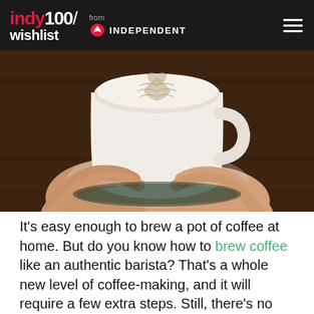indy100/wishlist from INDEPENDENT
[Figure (photo): Close-up photograph of a white ceramic coffee cup with latte art, held in two hands over a dark wooden surface]
It's easy enough to brew a pot of coffee at home. But do you know how to brew coffee like an authentic barista? That's a whole new level of coffee-making, and it will require a few extra steps. Still, there's no need to buy $5 coffees at your local cafe every day when you could get